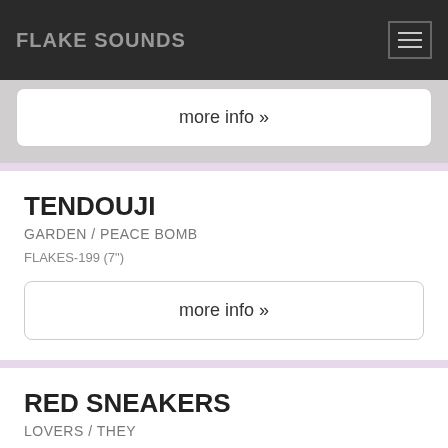FLAKE SOUNDS
more info »
TENDOUJI
GARDEN / PEACE BOMB
FLAKES-199 (7")
more info »
RED SNEAKERS
LOVERS / THEY
FLAKES-198 (PIC.7")
more info »